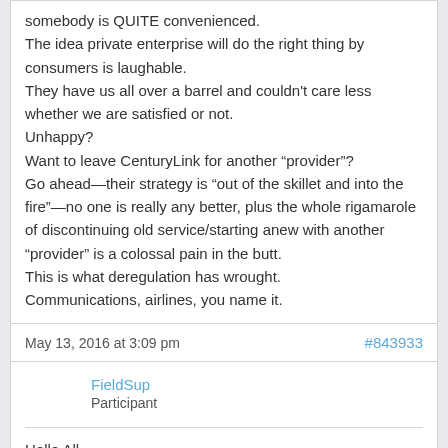somebody is QUITE convenienced. The idea private enterprise will do the right thing by consumers is laughable. They have us all over a barrel and couldn't care less whether we are satisfied or not. Unhappy? Want to leave CenturyLink for another “provider”? Go ahead—their strategy is “out of the skillet and into the fire”—no one is really any better, plus the whole rigamarole of discontinuing old service/starting anew with another “provider” is a colossal pain in the butt. This is what deregulation has wrought. Communications, airlines, you name it.
May 13, 2016 at 3:09 pm
#843933
FieldSup
Participant
Hello All,
My name is Todd and I'm a Field Supervisor in Seattle at CenturyLink. The problems that you have experienced and that I'm reading about are very concerning to me. I'd like to take this